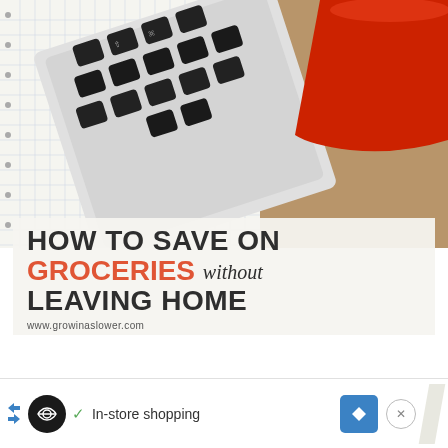[Figure (photo): Overhead view of a laptop keyboard with black keys on white body, and a red coffee cup with black coffee, on a light wooden surface with grid notebook paper]
HOW TO SAVE ON GROCERIES without LEAVING HOME
www.growinaslower.com
In-store shopping